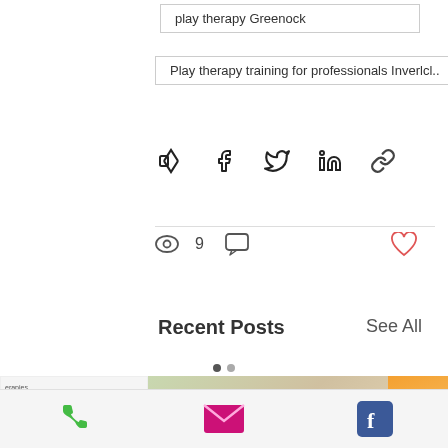play therapy Greenock
Play therapy training for professionals Inverlcl..
[Figure (infographic): Social share icons: Facebook, Twitter, LinkedIn, link/chain]
9 views, comment icon, heart/like icon
Recent Posts
See All
[Figure (photo): Photo of food/snack packages and boxes on a white table with a thank you card, flanked by partial website sidebar text on left and colorful cartoon image on right]
[Figure (infographic): Footer bar with phone icon (green), email icon (pink/magenta), and Facebook icon (blue)]